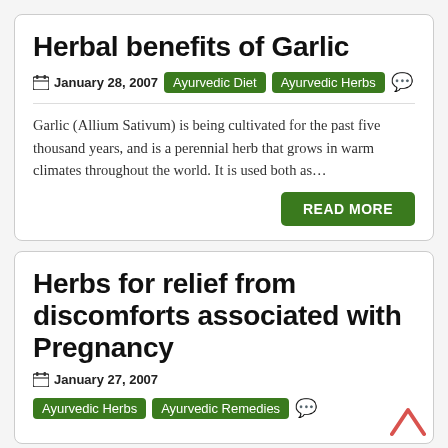Herbal benefits of Garlic
📅 January 28, 2007  Ayurvedic Diet  Ayurvedic Herbs
Garlic (Allium Sativum) is being cultivated for the past five thousand years, and is a perennial herb that grows in warm climates throughout the world. It is used both as…
READ MORE
Herbs for relief from discomforts associated with Pregnancy
📅 January 27, 2007
Ayurvedic Herbs  Ayurvedic Remedies